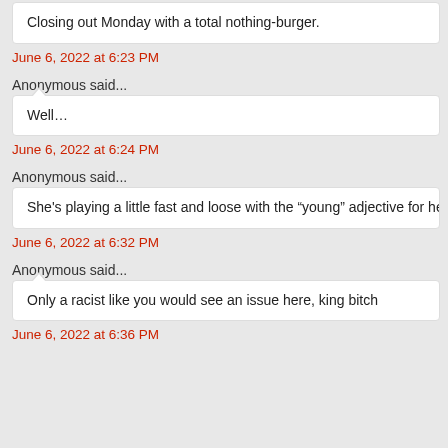Closing out Monday with a total nothing-burger.
June 6, 2022 at 6:23 PM
Anonymous said...
Well…
June 6, 2022 at 6:24 PM
Anonymous said...
She's playing a little fast and loose with the “young” adjective for herse
June 6, 2022 at 6:32 PM
Anonymous said...
Only a racist like you would see an issue here, king bitch
June 6, 2022 at 6:36 PM